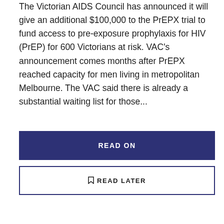The Victorian AIDS Council has announced it will give an additional $100,000 to the PrEPX trial to fund access to pre-exposure prophylaxis for HIV (PrEP) for 600 Victorians at risk. VAC's announcement comes months after PrEPX reached capacity for men living in metropolitan Melbourne. The VAC said there is already a substantial waiting list for those...
READ ON
READ LATER